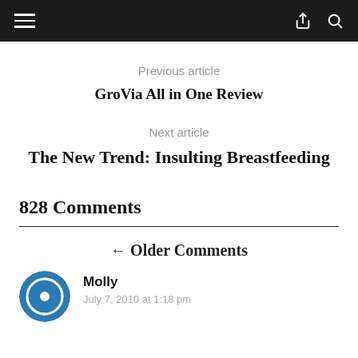Navigation bar with hamburger menu, share icon, and search icon
Previous article
GroVia All in One Review
Next article
The New Trend: Insulting Breastfeeding
828 Comments
← Older Comments
Molly
July 7, 2010 at 1:18 pm